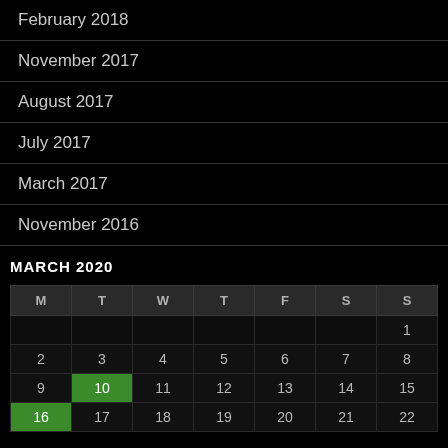February 2018
November 2017
August 2017
July 2017
March 2017
November 2016
MARCH 2020
| M | T | W | T | F | S | S |
| --- | --- | --- | --- | --- | --- | --- |
|  |  |  |  |  |  | 1 |
| 2 | 3 | 4 | 5 | 6 | 7 | 8 |
| 9 | 10 | 11 | 12 | 13 | 14 | 15 |
| 16 | 17 | 18 | 19 | 20 | 21 | 22 |